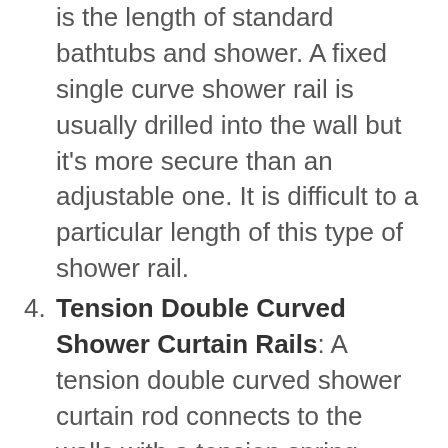is the length of standard bathtubs and shower. A fixed single curve shower rail is usually drilled into the wall but it's more secure than an adjustable one. It is difficult to a particular length of this type of shower rail.
Tension Double Curved Shower Curtain Rails: A tension double curved shower curtain rod connects to the walls with a tension spring inside the rod instead of drills, but the length is fixed. This type of shower rail is different because they render two different rods for the shower curtain and the curtain liner. A tension double curved shower drill is ideal for bathroom walls you don't want to drill holes into. Using double shower curtain rods reduces the chance of mould or other types of fungi.